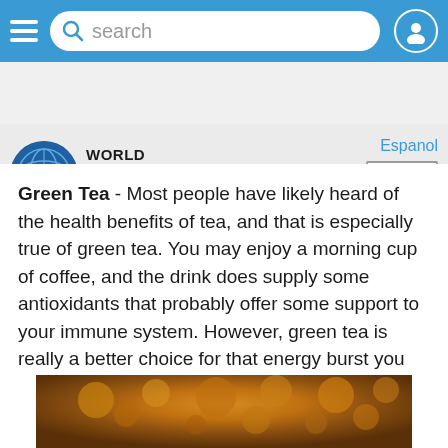search
[Figure (logo): World Health Net logo with blue circle and WHN text, plus A4M box and Espanol link]
Green Tea - Most people have likely heard of the health benefits of tea, and that is especially true of green tea. You may enjoy a morning cup of coffee, and the drink does supply some antioxidants that probably offer some support to your immune system. However, green tea is really a better choice for that energy burst you need in the morning, since it has a much higher level of antioxidants per cup.
[Figure (photo): Close-up photo of golden-brown spice powder or ground tea, with textured granular surface]